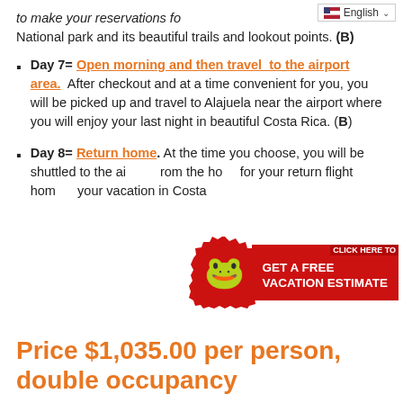to make your reservations for the National park and its beautiful trails and lookout points. (B)
Day 7= Open morning and then travel to the airport area. After checkout and at a time convenient for you, you will be picked up and travel to Alajuela near the airport where you will enjoy your last night in beautiful Costa Rica. (B)
Day 8= Return home. At the time you choose, you will be shuttled to the airport from the hotel for your return flight home... your vacation in Costa Rica.
[Figure (other): CTA badge with frog illustration and red banner reading CLICK HERE TO GET A FREE VACATION ESTIMATE]
Price $1,035.00 per person, double occupancy